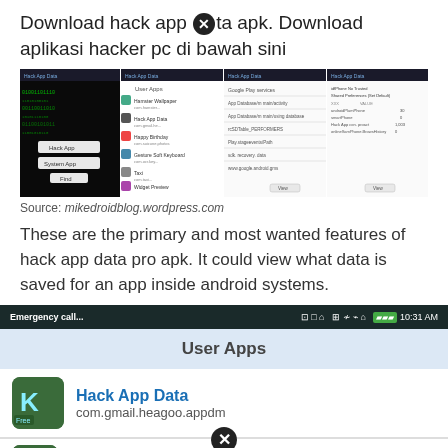Download hack app ✕ta apk. Download aplikasi hacker pc di bawah sini
[Figure (screenshot): Four Android app screenshots showing Hack App Data application screens with dark and light themed panels]
Source: mikedroidblog.wordpress.com
These are the primary and most wanted features of hack app data pro apk. It could view what data is saved for an app inside android systems.
[Figure (screenshot): Android phone screenshot showing status bar with Emergency call text, icons, and 10:31 AM time, then User Apps section with Hack App Data app entry (com.gmail.heagoo.appdm)]